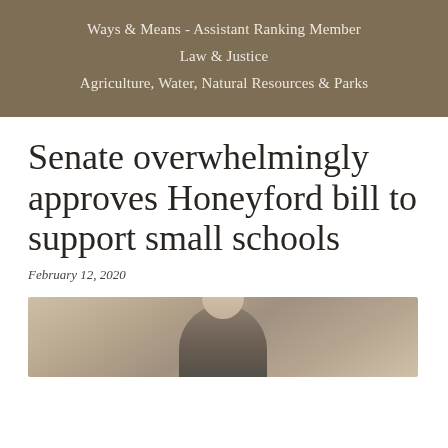Ways & Means - Assistant Ranking Member
Law & Justice
Agriculture, Water, Natural Resources & Parks
Senate overwhelmingly approves Honeyford bill to support small schools
February 12, 2020
[Figure (photo): Photograph of a man, likely Senator Honeyford, shown from shoulders up against a neutral background]